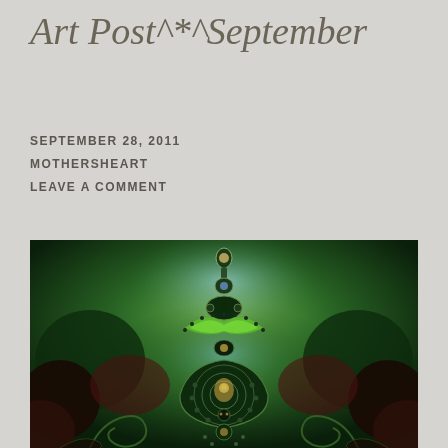Art Post^*^September
SEPTEMBER 28, 2011
MOTHERSHEART
LEAVE A COMMENT
[Figure (illustration): Fractal digital art image featuring a symmetrical Mandelbrot-style fractal with deep greens, dark teals, and hints of red and gold. The fractal shows ornate spiral and bulb patterns resembling decorative motifs, set against a glowing green background with dark shadowy regions.]